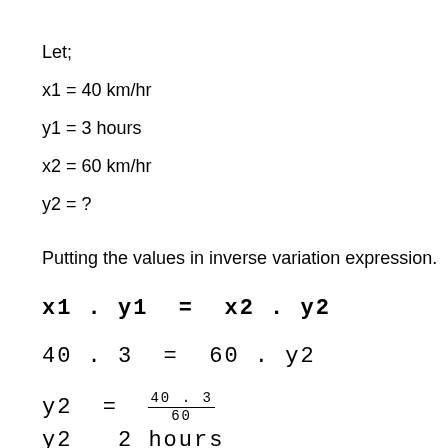Let;
x1 = 40 km/hr
y1 = 3 hours
x2 = 60 km/hr
y2 = ?
Putting the values in inverse variation expression.